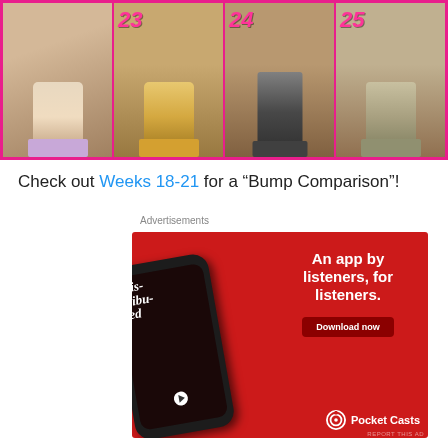[Figure (photo): Four photo panels in a pink-bordered strip showing women's feet in high heels, each labeled with week numbers 22, 23, 24, 25 in pink italic text]
Check out Weeks 18-21 for a “Bump Comparison”!
Advertisements
[Figure (photo): Red advertisement banner for Pocket Casts app showing a smartphone with podcast app open, text reading 'An app by listeners, for listeners.' and a 'Download now' button, with Pocket Casts logo at bottom]